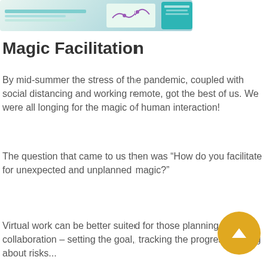[Figure (illustration): Decorative infographic strip showing diagrams and a teal card/notebook at the top of the page]
Magic Facilitation
By mid-summer the stress of the pandemic, coupled with social distancing and working remote, got the best of us. We were all longing for the magic of human interaction!
The question that came to us then was “How do you facilitate for unexpected and unplanned magic?”
Virtual work can be better suited for those planning types of collaboration – setting the goal, tracking the progress, talking about risks...